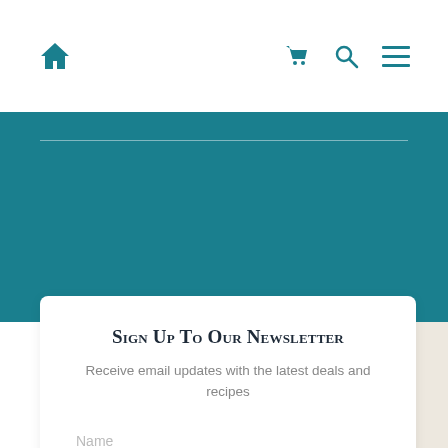Navigation bar with home icon, cart icon, search icon, menu icon
[Figure (screenshot): Teal banner section with a thin horizontal divider line]
Sign Up To Our Newsletter
Receive email updates with the latest deals and recipes
Name